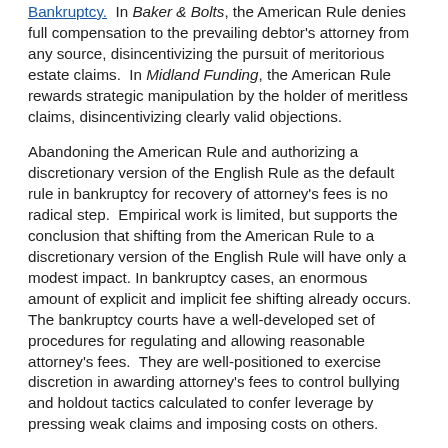Bankruptcy.  In Baker & Bolts, the American Rule denies full compensation to the prevailing debtor's attorney from any source, disincentivizing the pursuit of meritorious estate claims.  In Midland Funding, the American Rule rewards strategic manipulation by the holder of meritless claims, disincentivizing clearly valid objections.
Abandoning the American Rule and authorizing a discretionary version of the English Rule as the default rule in bankruptcy for recovery of attorney's fees is no radical step.  Empirical work is limited, but supports the conclusion that shifting from the American Rule to a discretionary version of the English Rule will have only a modest impact. In bankruptcy cases, an enormous amount of explicit and implicit fee shifting already occurs.  The bankruptcy courts have a well-developed set of procedures for regulating and allowing reasonable attorney's fees.  They are well-positioned to exercise discretion in awarding attorney's fees to control bullying and holdout tactics calculated to confer leverage by pressing weak claims and imposing costs on others.
Several factors can appropriately guide court discretion to award fees in insolvency cases, including:
Whether the prevailing party or its adversary has a right to recover fees in analogous litigation on the same issues